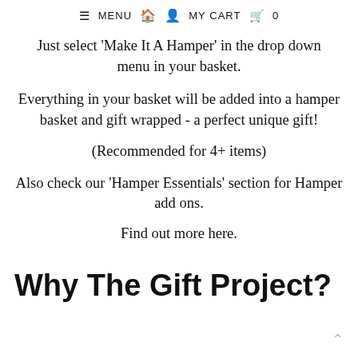≡ MENU  🏠  👤  MY CART  🛒  0
Just select 'Make It A Hamper' in the drop down menu in your basket.
Everything in your basket will be added into a hamper basket and gift wrapped - a perfect unique gift!
(Recommended for 4+ items)
Also check our 'Hamper Essentials' section for Hamper add ons.
Find out more here.
Why The Gift Project?